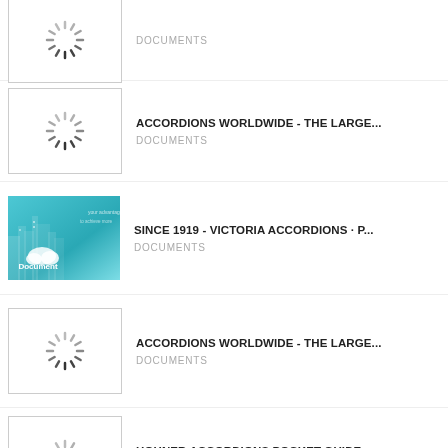[Figure (screenshot): Loading spinner thumbnail with border]
DOCUMENTS
[Figure (screenshot): Loading spinner thumbnail with border]
ACCORDIONS WORLDWIDE - THE LARGE...
DOCUMENTS
[Figure (photo): Teal/blue document thumbnail with city skyline and cloud icon and text 'Document']
SINCE 1919 - VICTORIA ACCORDIONS · P...
DOCUMENTS
[Figure (screenshot): Loading spinner thumbnail with border]
ACCORDIONS WORLDWIDE - THE LARGE...
DOCUMENTS
[Figure (screenshot): Loading spinner thumbnail with border]
HOHNER ACCORDIONS POCKET GUIDE -...
DOCUMENTS